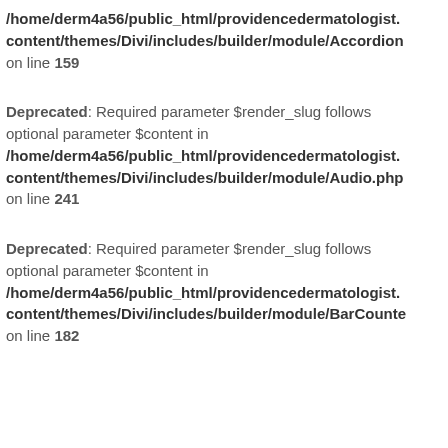/home/derm4a56/public_html/providencedermatologist./content/themes/Divi/includes/builder/module/Accordion on line 159
Deprecated: Required parameter $render_slug follows optional parameter $content in /home/derm4a56/public_html/providencedermatologist./content/themes/Divi/includes/builder/module/Audio.php on line 241
Deprecated: Required parameter $render_slug follows optional parameter $content in /home/derm4a56/public_html/providencedermatologist./content/themes/Divi/includes/builder/module/BarCounte on line 182